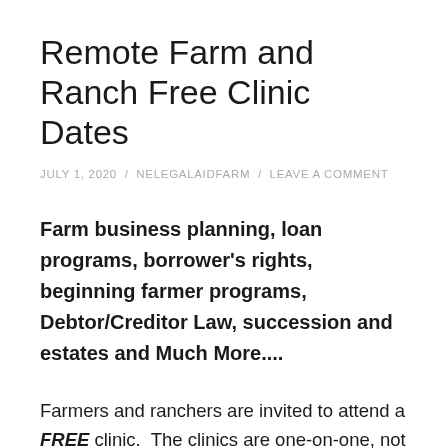Remote Farm and Ranch Free Clinic Dates
JULY 1, 2020 / NELEGALAIDFARM / LEAVE A COMMENT
Farm business planning, loan programs, borrower's rights, beginning farmer programs, Debtor/Creditor Law, succession and estates and Much More....
Farmers and ranchers are invited to attend a FREE clinic.  The clinics are one-on-one, not group sessions, and are confidential.  The